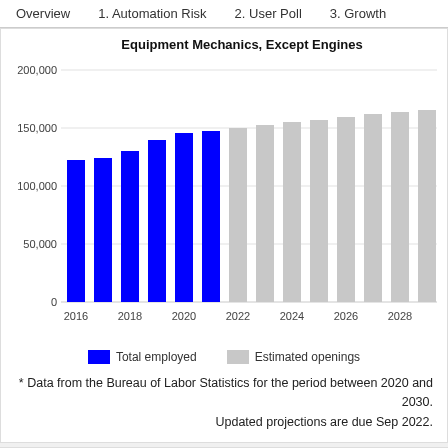Overview    1. Automation Risk    2. User Poll    3. Growth
[Figure (bar-chart): Equipment Mechanics, Except Engines]
* Data from the Bureau of Labor Statistics for the period between 2020 and 2030. Updated projections are due Sep 2022.